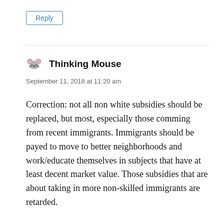Reply
Thinking Mouse
September 11, 2018 at 11:20 am
Correction: not all non white subsidies should be replaced, but most, especially those comming from recent immigrants. Immigrants should be payed to move to better neighborhoods and work/educate themselves in subjects that have at least decent market value. Those subsidies that are about taking in more non-skilled immigrants are retarded.